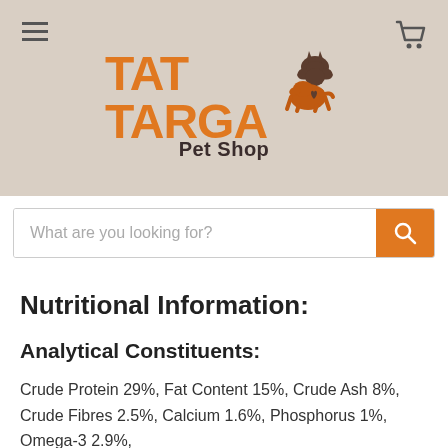[Figure (logo): TatTarga Pet Shop logo with orange text and dog/cat silhouette illustration on beige background]
What are you looking for?
Nutritional Information:
Analytical Constituents:
Crude Protein 29%, Fat Content 15%, Crude Ash 8%, Crude Fibres 2.5%, Calcium 1.6%, Phosphorus 1%, Omega-3 2.9%,